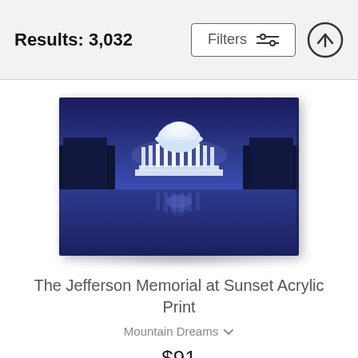Results: 3,032
[Figure (screenshot): Filters button with sliders icon and an upward arrow circle button in the header bar]
[Figure (photo): The Jefferson Memorial illuminated at night reflected in still water, twilight blue sky, trees silhouetted on either side, displayed as a canvas print with slight side depth effect]
The Jefferson Memorial at Sunset Acrylic Print
Mountain Dreams
$91